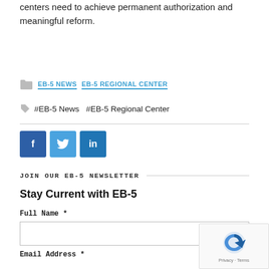centers need to achieve permanent authorization and meaningful reform.
EB-5 NEWS  EB-5 REGIONAL CENTER
#EB-5 News  #EB-5 Regional Center
[Figure (other): Social share buttons: Facebook (f), Twitter (bird), LinkedIn (in)]
JOIN OUR EB-5 NEWSLETTER
Stay Current with EB-5
Full Name *
Email Address *